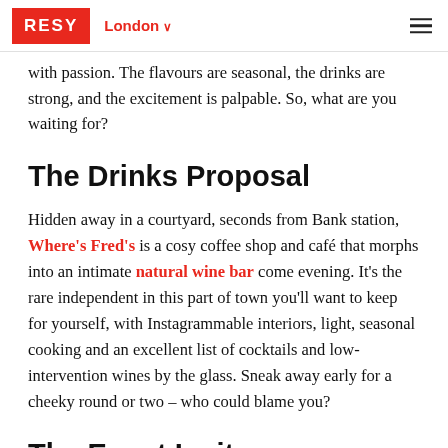RESY  London
with passion. The flavours are seasonal, the drinks are strong, and the excitement is palpable. So, what are you waiting for?
The Drinks Proposal
Hidden away in a courtyard, seconds from Bank station, Where's Fred's is a cosy coffee shop and café that morphs into an intimate natural wine bar come evening. It's the rare independent in this part of town you'll want to keep for yourself, with Instagrammable interiors, light, seasonal cooking and an excellent list of cocktails and low-intervention wines by the glass. Sneak away early for a cheeky round or two – who could blame you?
The Event Invite